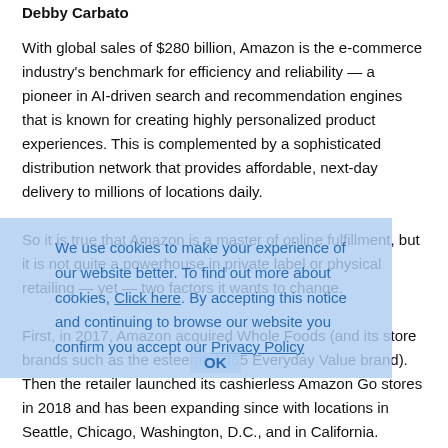Debby Carbato
With global sales of $280 billion, Amazon is the e-commerce industry's benchmark for efficiency and reliability — a pioneer in AI-driven search and recommendation engines that is known for creating highly personalized product experiences. This is complemented by a sophisticated distribution network that provides affordable, next-day delivery to millions of locations daily.

So it is true that Amazon is a master of online fulfillment, but it is not quite a powerhouse in private label or physical retailing — yet — two factors it wants to change.

First, in 2017, Amazon acquired Whole Foods (and its store brands such as the esteemed 365 Everyday Value brand). Then the retailer launched its cashierless Amazon Go stores in 2018 and has been expanding since with locations in Seattle, Chicago, Washington, D.C., and in California.
We use cookies to make your experience of our website better. To find out more about cookies, Click here. By accepting this notice and continuing to browse our website you confirm you accept our Privacy Policy